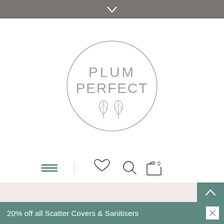[Figure (logo): Plum Perfect brand logo: circle with text PLUM PERFECT and two leaf icons inside, gray outline on white background]
[Figure (screenshot): Navigation bar with hamburger menu, heart icon, search icon, and shopping bag icon with 0 badge]
[Figure (other): Gray-green back to top button with up arrow chevron]
20% off all Scatter Covers & Sanitisers